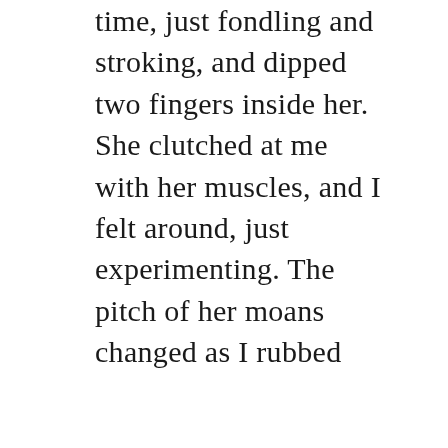time, just fondling and stroking, and dipped two fingers inside her. She clutched at me with her muscles, and I felt around, just experimenting. The pitch of her moans changed as I rubbed